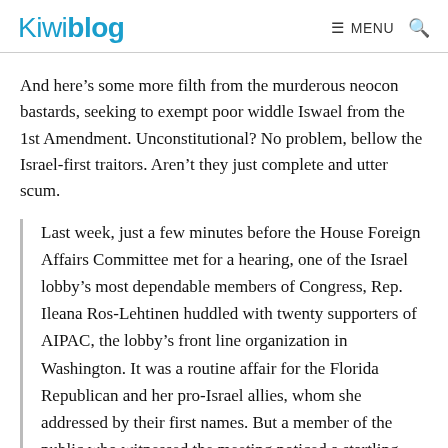Kiwiblog  ☰ MENU 🔍
And here's some more filth from the murderous neocon bastards, seeking to exempt poor widdle Iswael from the 1st Amendment. Unconstitutional? No problem, bellow the Israel-first traitors. Aren't they just complete and utter scum.
Last week, just a few minutes before the House Foreign Affairs Committee met for a hearing, one of the Israel lobby's most dependable members of Congress, Rep. Ileana Ros-Lehtinen huddled with twenty supporters of AIPAC, the lobby's front line organization in Washington. It was a routine affair for the Florida Republican and her pro-Israel allies, whom she addressed by their first names. But a member of the public who witnessed the meeting noticed a startling new agenda was on the table.